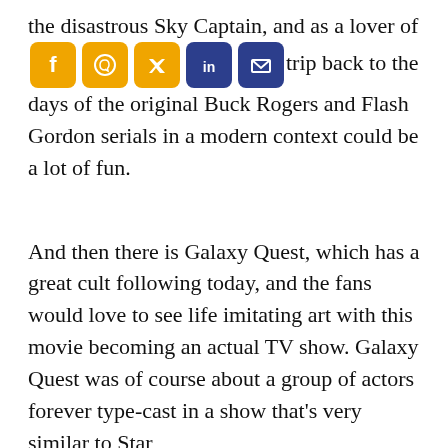the disastrous Sky Captain, and as a lover of [social icons] s[o]pl[Twitter]ro[in]uf[email]trip back to the days of the original Buck Rogers and Flash Gordon serials in a modern context could be a lot of fun.
And then there is Galaxy Quest, which has a great cult following today, and the fans would love to see life imitating art with this movie becoming an actual TV show. Galaxy Quest was of course about a group of actors forever type-cast in a show that's very similar to Star